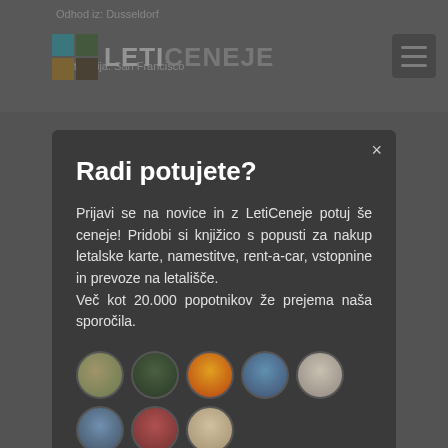[Figure (screenshot): Background of a travel website showing LETICENEJE logo, navigation bar with destination info (Odhod iz: Dusseldorf, destinacija: San Francisco), and hamburger menu icon.]
Radi potujete?
Prijavi se na novice in z LetiCeneje potuj še ceneje! Pridobi si knjižico s popusti za nakup letalske karte, namestitve, rent-a-car, vstopnine in prevoze na letališče.
Več kot 20.000 popotnikov že prejema naša sporočila.
[Figure (illustration): Row of 8 circular avatar photos of travelers/subscribers.]
Vaš email
Prijavi me